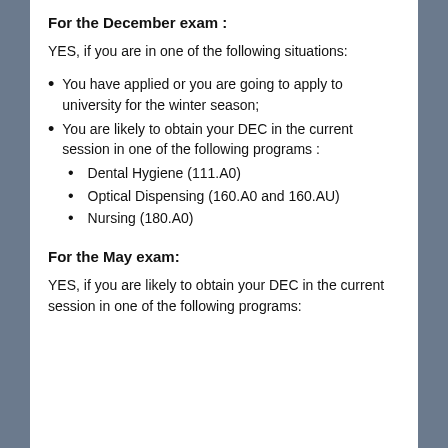For the December exam :
YES, if you are in one of the following situations:
You have applied or you are going to apply to university for the winter season;
You are likely to obtain your DEC in the current session in one of the following programs :
Dental Hygiene (111.A0)
Optical Dispensing (160.A0 and 160.AU)
Nursing (180.A0)
For the May exam:
YES, if you are likely to obtain your DEC in the current session in one of the following programs: